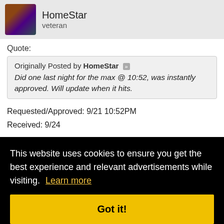HomeStar veteran
Quote:
Originally Posted by HomeStar
Did one last night for the max @ 10:52, was instantly approved. Will update when it hits.
Requested/Approved: 9/21 10:52PM
Received: 9/24
Full amount +.07 cents, but I my bank will be taking $15
This website uses cookies to ensure you get the best experience and relevant advertisements while visiting. Learn more
Got it!
#293
Well did another wire this week. As I said before there were